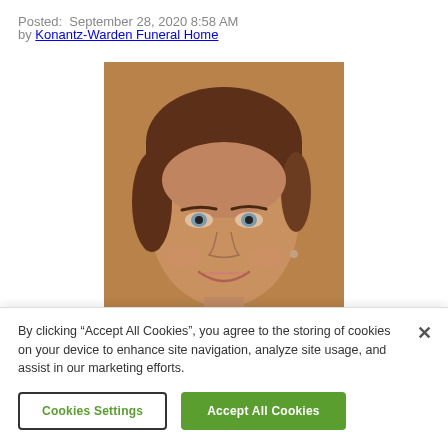Posted:  September 28, 2020 8:58 AM
by Konantz-Warden Funeral Home
[Figure (photo): Portrait photo of a woman with short brown hair, smiling, close-up headshot]
By clicking “Accept All Cookies”, you agree to the storing of cookies on your device to enhance site navigation, analyze site usage, and assist in our marketing efforts.
Cookies Settings
Accept All Cookies